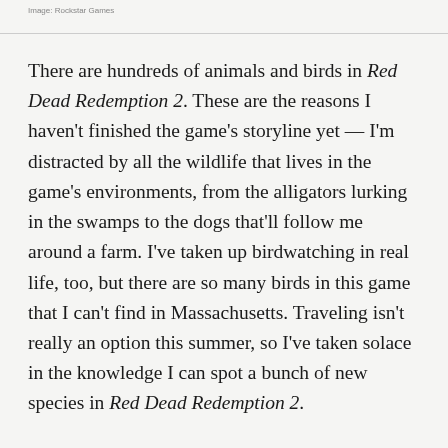Image: Rockstar Games
There are hundreds of animals and birds in Red Dead Redemption 2. These are the reasons I haven't finished the game's storyline yet — I'm distracted by all the wildlife that lives in the game's environments, from the alligators lurking in the swamps to the dogs that'll follow me around a farm. I've taken up birdwatching in real life, too, but there are so many birds in this game that I can't find in Massachusetts. Traveling isn't really an option this summer, so I've taken solace in the knowledge I can spot a bunch of new species in Red Dead Redemption 2.
But if virtual birdwatching isn't your thing, there are plenty of other ways to experience the natural world...